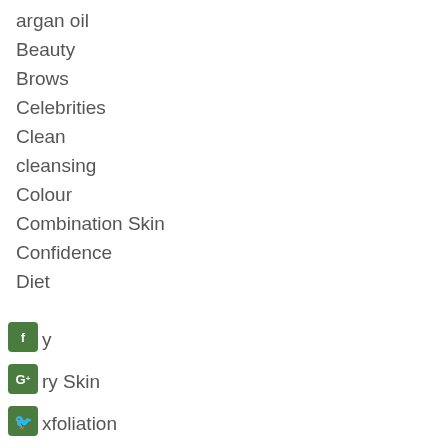argan oil
Beauty
Brows
Celebrities
Clean
cleansing
Colour
Combination Skin
Confidence
Diet
Dry
Dry Skin
Exfoliation
Eye
Family